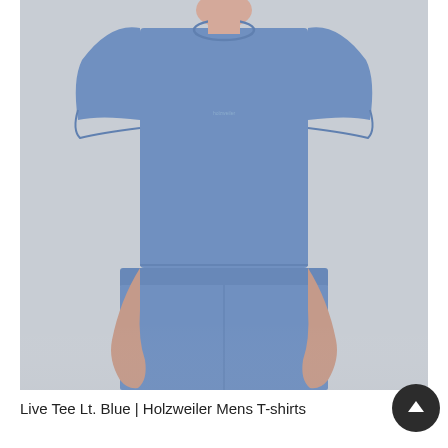[Figure (photo): A man wearing a light blue short-sleeve crew-neck t-shirt and matching blue shorts, shown from neck to thighs against a light grey background. The t-shirt has a small logo printed at the chest center.]
Live Tee Lt. Blue | Holzweiler Mens T-shirts